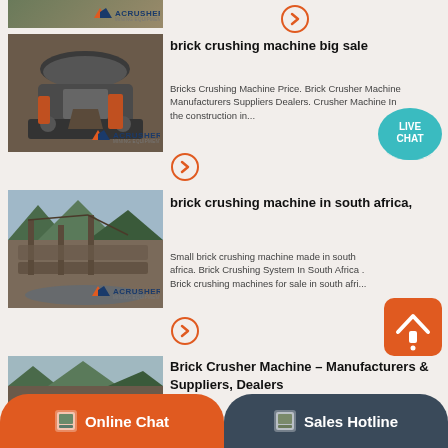[Figure (photo): Partial view of mining/crushing equipment with ACRUSHER MINING EQUIPMENT logo at top of page]
[Figure (photo): Cone crusher machine with gravel/aggregate, ACRUSHER MINING EQUIPMENT logo overlay]
brick crushing machine big sale
Bricks Crushing Machine Price. Brick Crusher Machine Manufacturers Suppliers Dealers. Crusher Machine In the construction in...
[Figure (photo): Large outdoor mining/crushing plant with mountains in background, ACRUSHER MINING EQUIPMENT logo]
brick crushing machine in south africa,
Small brick crushing machine made in south africa. Brick Crushing System In South Africa . Brick crushing machines for sale in south afri...
Brick Crusher Machine – Manufacturers & Suppliers, Dealers
B... Br...
Online Chat
Sales Hotline